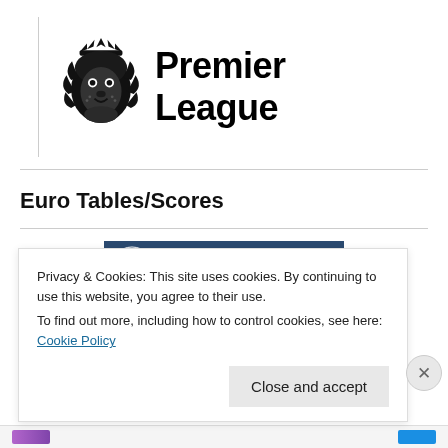[Figure (logo): Premier League logo: lion head icon with crown on left, text 'Premier League' on right, separated by a vertical line divider]
Euro Tables/Scores
[Figure (photo): UEFA Champions League banner image showing star ball and UEFA logo on dark blue background]
Privacy & Cookies: This site uses cookies. By continuing to use this website, you agree to their use.
To find out more, including how to control cookies, see here: Cookie Policy
Close and accept